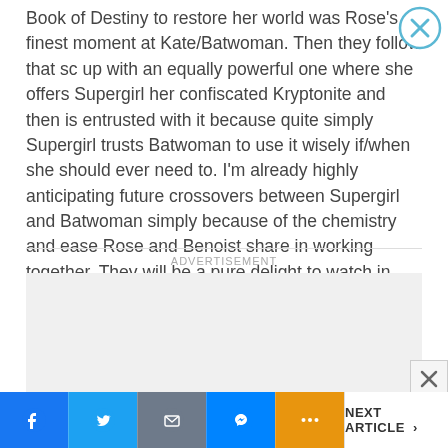Book of Destiny to restore her world was Rose’s finest moment at Kate/Batwoman. Then they follow that sc up with an equally powerful one where she offers Supergirl her confiscated Kryptonite and then is entrusted with it because quite simply Supergirl trusts Batwoman to use it wisely if/when she should ever need to. I’m already highly anticipating future crossovers between Supergirl and Batwoman simply because of the chemistry and ease Rose and Benoist share in working together. They will be a pure delight to watch in seasons to come.
[Figure (other): Close button (X in circle) overlay at top right of the page]
ADVERTISEMENT
[Figure (other): Grey advertisement placeholder box]
[Figure (other): Ad close X button at bottom right of ad area]
Facebook | Twitter | Email | Messenger | More | NEXT ARTICLE >